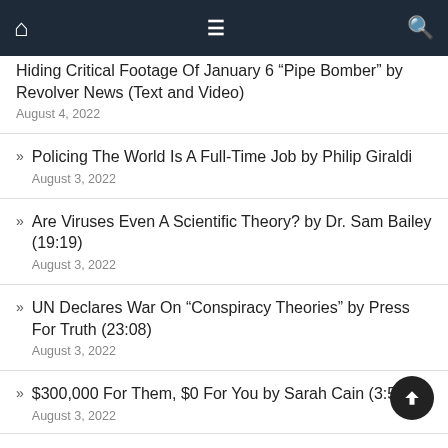Navigation bar with home, menu, and search icons
Hiding Critical Footage Of January 6 “Pipe Bomber” by Revolver News (Text and Video)
August 4, 2022
Policing The World Is A Full-Time Job by Philip Giraldi
August 3, 2022
Are Viruses Even A Scientific Theory? by Dr. Sam Bailey (19:19)
August 3, 2022
UN Declares War On “Conspiracy Theories” by Press For Truth (23:08)
August 3, 2022
$300,000 For Them, $0 For You by Sarah Cain (3:55)
August 3, 2022
How A Minority Helped Suppress As Far A Conspiracy To Uphold...